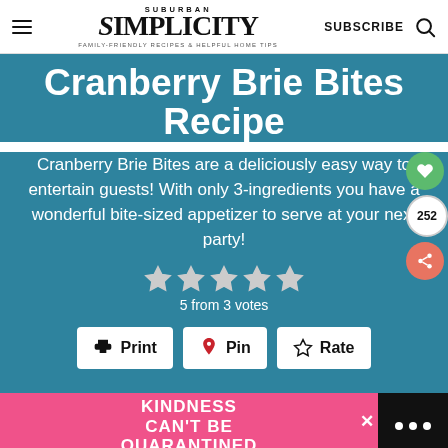SUBURBAN SIMPLICITY — FAMILY-FRIENDLY RECIPES & HELPFUL HOME TIPS — SUBSCRIBE
Cranberry Brie Bites Recipe
Cranberry Brie Bites are a deliciously easy way to entertain guests! With only 3-ingredients you have a wonderful bite-sized appetizer to serve at your next party!
5 from 3 votes
Print  Pin  Rate
[Figure (infographic): Pink advertisement banner reading KINDNESS CAN'T BE QUARANTINED with close button and dark right panel with three white dots icon]